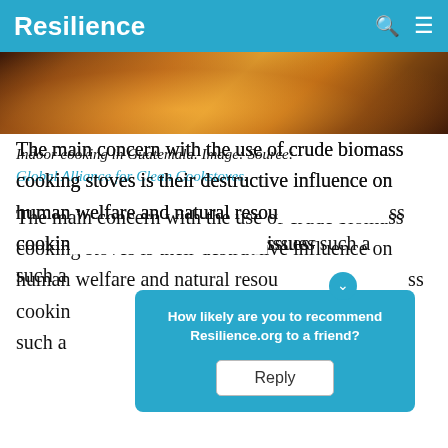Resilience
[Figure (photo): Indoor cooking scene in Guatemala — warm orange-toned image showing people cooking over an open fire indoors.]
Indoor cooking in Guatemala. Image: Source: Global Alliance for Clean Cookstoves.
The main concern with the use of crude biomass cooking stoves is their destructive influence on human welfare and natural resources. Biomass cooking stoves causes cooking issues such a…
How likely are you to recommend Resilience.org to a friend? Reply